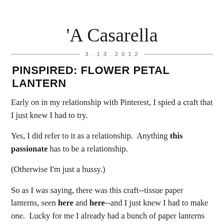'A Casarella
3.13.2012
PINSPIRED: FLOWER PETAL LANTERN
Early on in my relationship with Pinterest, I spied a craft that I just knew I had to try.
Yes, I did refer to it as a relationship.  Anything this passionate has to be a relationship.
(Otherwise I'm just a hussy.)
So as I was saying, there was this craft--tissue paper lanterns, seen here and here--and I just knew I had to make one.  Lucky for me I already had a bunch of paper lanterns left over from my mother's wedding.